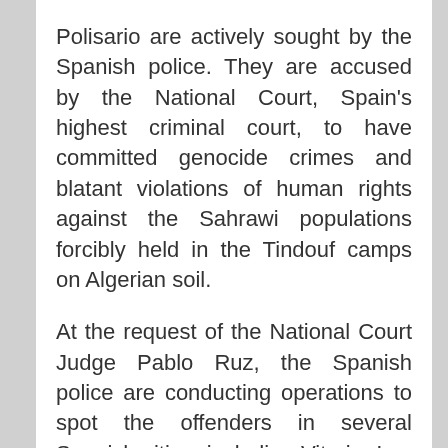Polisario are actively sought by the Spanish police. They are accused by the National Court, Spain's highest criminal court, to have committed genocide crimes and blatant violations of human rights against the Sahrawi populations forcibly held in the Tindouf camps on Algerian soil. At the request of the National Court Judge Pablo Ruz, the Spanish police are conducting operations to spot the offenders in several Spanish cities, including Vitoria, Las Palmas, Badajoz, Girona, Madrid, Cordoba and Cadiz, the victims' lawyer, Jose Manuel Gonzalez Romero, said. The lawyer said he delivered to the judiciary, on Monday June 24, the addresses of these Polisario leaders, charged with "genocide, torture, forced disappearances, illegal detention, and serious